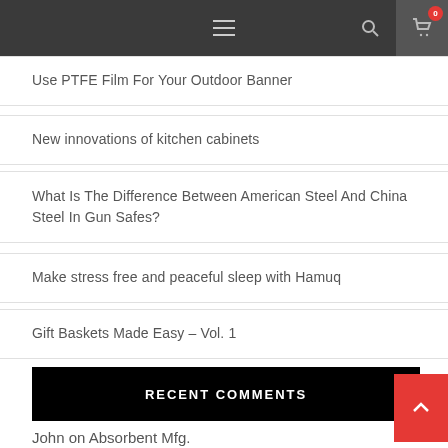Navigation bar with hamburger menu, search icon, and cart icon with badge 0
Use PTFE Film For Your Outdoor Banner
New innovations of kitchen cabinets
What Is The Difference Between American Steel And China Steel In Gun Safes?
Make stress free and peaceful sleep with Hamuq
Gift Baskets Made Easy – Vol. 1
RECENT COMMENTS
John on Absorbent Mfg.